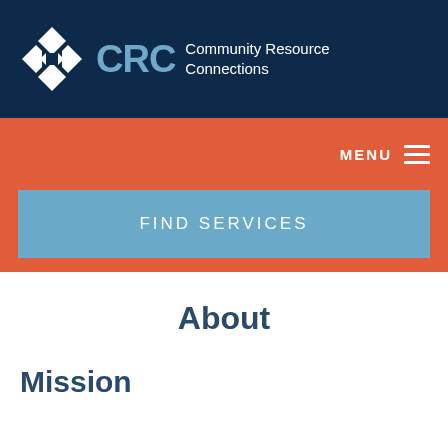[Figure (logo): CRC Community Resource Connections logo with puzzle piece icon on dark navy background]
MENU
FIND SERVICES
About
Mission